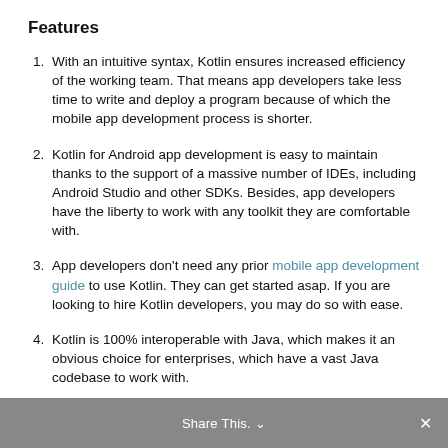Features
With an intuitive syntax, Kotlin ensures increased efficiency of the working team. That means app developers take less time to write and deploy a program because of which the mobile app development process is shorter.
Kotlin for Android app development is easy to maintain thanks to the support of a massive number of IDEs, including Android Studio and other SDKs. Besides, app developers have the liberty to work with any toolkit they are comfortable with.
App developers don't need any prior mobile app development guide to use Kotlin. They can get started asap. If you are looking to hire Kotlin developers, you may do so with ease.
Kotlin is 100% interoperable with Java, which makes it an obvious choice for enterprises, which have a vast Java codebase to work with.
The latest version of Kotlin is backwards-compatible with its previous versions. This
Share This.